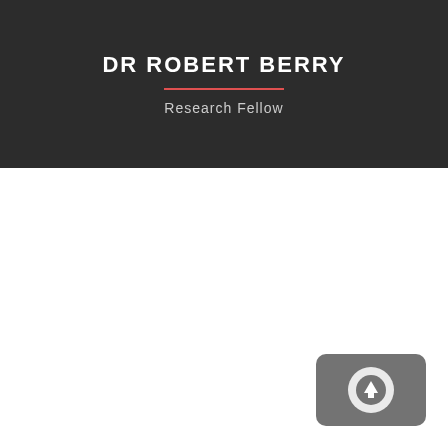DR ROBERT BERRY
Research Fellow
[Figure (other): Upload button icon — rounded rectangle with an upward arrow circle]